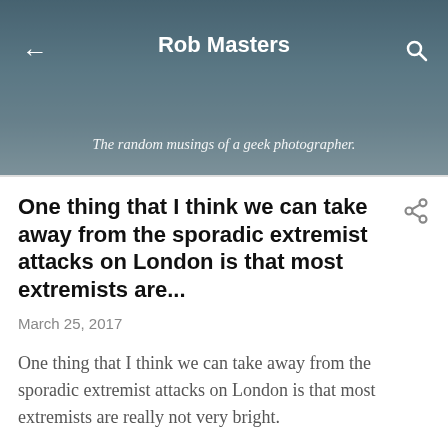Rob Masters
The random musings of a geek photographer.
One thing that I think we can take away from the sporadic extremist attacks on London is that most extremists are...
March 25, 2017
One thing that I think we can take away from the sporadic extremist attacks on London is that most extremists are really not very bright.
London is arguably the worst target in the world for a terror attack.
This is the city that rose to meet indiscriminate bombing by Zeppelins in WWI, the Luftwaffe in WWII, the IRA during the